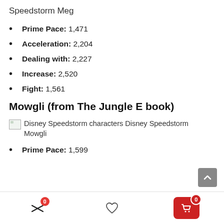Speedstorm Meg
Prime Pace: 1,471
Acceleration: 2,204
Dealing with: 2,227
Increase: 2,520
Fight: 1,561
Mowgli (from The Jungle E book)
[Figure (photo): Disney Speedstorm characters Disney Speedstorm Mowgli — broken/missing image placeholder with alt text]
Prime Pace: 1,599